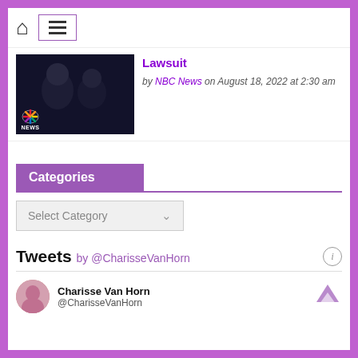[Figure (screenshot): Website navigation bar with home icon and hamburger menu icon inside a purple-bordered box]
[Figure (photo): NBC News video thumbnail showing two people, with NBC peacock logo and NEWS text overlay]
Lawsuit by NBC News on August 18, 2022 at 2:30 am
Categories
Select Category
Tweets by @CharisseVanHorn
Charisse Van Horn @CharisseVanHorn